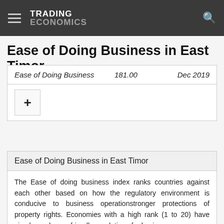TRADING ECONOMICS
Ease of Doing Business in East Timor
|  |  |  |
| --- | --- | --- |
| Ease of Doing Business | 181.00 | Dec 2019 |
Ease of Doing Business in East Timor
The Ease of doing business index ranks countries against each other based on how the regulatory environment is conducive to business operationstronger protections of property rights. Economies with a high rank (1 to 20) have simpler and more friendly regulations for businesses.
| Actual | Previous | Highest | Lowest | Dates | Unit |
| --- | --- | --- | --- | --- | --- |
| 181.00 | 178.00 | 181.00 | 167.00 | 2014 | 2019 |